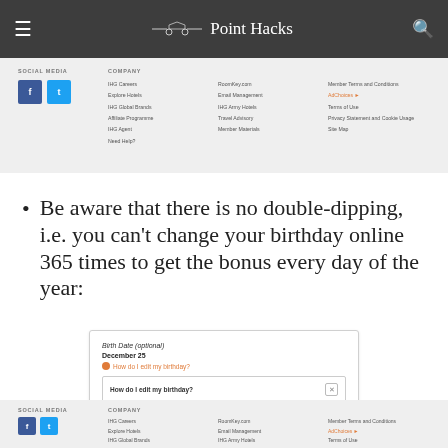Point Hacks
[Figure (screenshot): IHG website footer with Social Media icons (Facebook, Twitter) and Company links including IHG Careers, Explore Hotels, IHG Global Brands, Affiliate Programme, IHG Agent, Need Help?, RoomKey.com, Email Management, IHG Army Hotels, Travel Advisory, Member Materials, Member Terms and Conditions, AdChoices, Terms of Use, Privacy Statement and Cookie Usage, Site Map]
Be aware that there is no double-dipping, i.e. you can't change your birthday online 365 times to get the bonus every day of the year:
[Figure (screenshot): IHG account screenshot showing Birth Date (optional) field with value December 25 and a popup saying How do I edit my birthday? explaining to contact nearest IHG Rewards Club Customer Care Centre, with an OKAY button]
[Figure (screenshot): IHG website footer (repeated) with Social Media icons (Facebook, Twitter) and Company links]